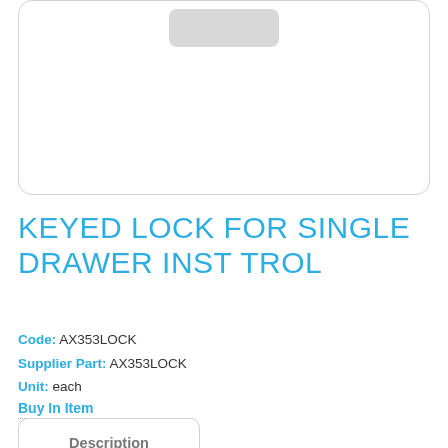[Figure (photo): Product image placeholder area with a rounded rectangle border and a gray rounded rectangle at the top center representing an image placeholder.]
KEYED LOCK FOR SINGLE DRAWER INST TROL
Code: AX353LOCK
Supplier Part: AX353LOCK
Unit: each
Buy In Item
Description